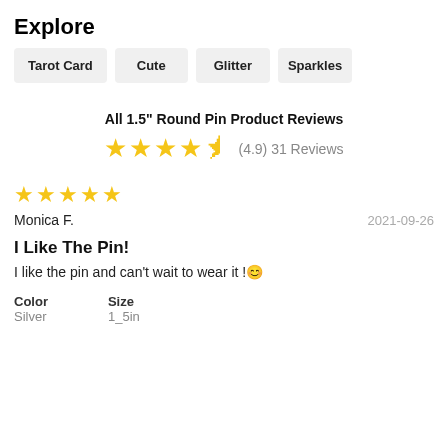Explore
Tarot Card
Cute
Glitter
Sparkles
All 1.5" Round Pin Product Reviews
(4.9) 31 Reviews
Monica F.    2021-09-26
I Like The Pin!
I like the pin and can't wait to wear it !😊
Color
Silver
Size
1_5in